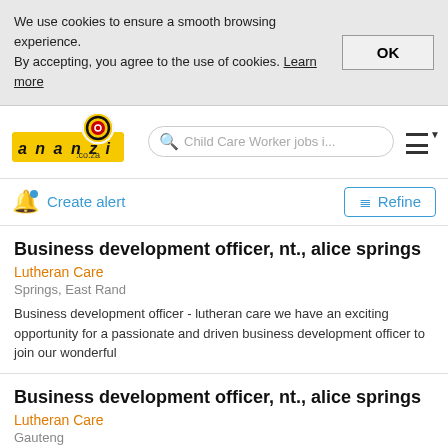We use cookies to ensure a smooth browsing experience. By accepting, you agree to the use of cookies. Learn more
[Figure (logo): Ananzi.co.za logo with yellow background and red target/bullseye icon]
Child Care Worker jobs i...
Create alert
Refine
Business development officer, nt., alice springs
Lutheran Care
Springs, East Rand
Business development officer - lutheran care we have an exciting opportunity for a passionate and driven business development officer to join our wonderful
Business development officer, nt., alice springs
Lutheran Care
Gauteng
Business development officer - lutheran care we have an exciting opportunity for a passionate and driven business development officer to join our wonderful